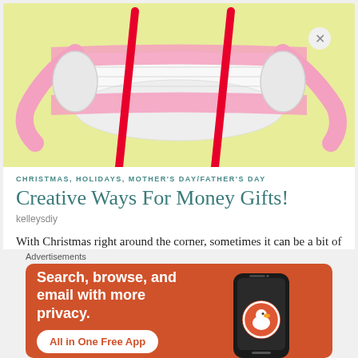[Figure (photo): A rolled paper scroll tied with pink and red ribbons on a yellow-green background.]
CHRISTMAS, HOLIDAYS, MOTHER'S DAY/FATHER'S DAY
Creative Ways For Money Gifts!
kelleysdiy
With Christmas right around the corner, sometimes it can be a bit of a challenge finding a gift for your loved ones. Money is the
[Figure (screenshot): DuckDuckGo advertisement banner with orange background. Text reads: Search, browse, and email with more privacy. All in One Free App. Shows DuckDuckGo logo and phone mockup.]